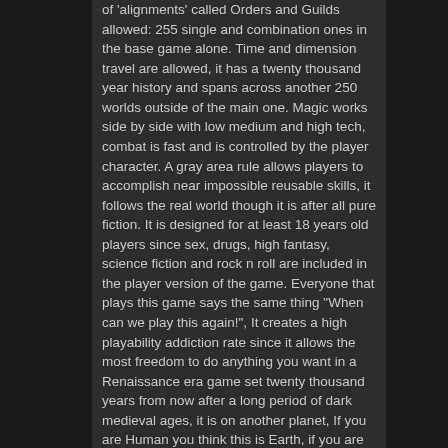of 'alignments' called Orders and Guilds allowed: 255 single and combination ones in the base game alone. Time and dimension travel are allowed, it has a twenty thousand year history and spans across another 250 worlds outside of the main one. Magic works side by side with low medium and high tech, combat is fast and is controlled by the player character. A gray area rule allows players to accomplish near impossible reusable skills, it follows the real world though it is after all pure fiction. It is designed for at least 18 years old players since sex, drugs, high fantasy, science fiction and rock n roll are included in the player version of the game. Everyone that plays this game says the same thing "When can we play this again!", It creates a high playability addiction rate since it allows the most freedom to do anything you want in a Renaissance era game set twenty thousand years from now after a long period of dark medieval ages, it is on another planet, If you are Human you think this is Earth, if you are any other race you think this is your original home world. It has add-ons that expand the base game